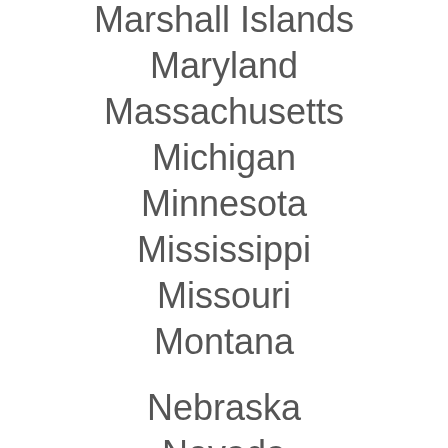Marshall Islands
Maryland
Massachusetts
Michigan
Minnesota
Mississippi
Missouri
Montana
Nebraska
Nevada